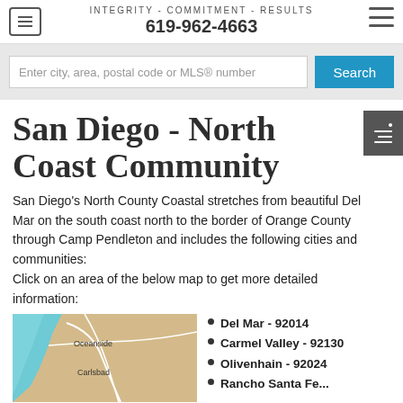INTEGRITY - COMMITMENT - RESULTS
619-962-4663
Enter city, area, postal code or MLS® number
San Diego - North Coast Community
San Diego's North County Coastal stretches from beautiful Del Mar on the south coast north to the border of Orange County through Camp Pendleton and includes the following cities and communities:
Click on an area of the below map to get more detailed information:
[Figure (map): Map showing North San Diego County coastal area with labeled cities Oceanside and Carlsbad]
Del Mar - 92014
Carmel Valley - 92130
Olivenhain - 92024
Rancho Santa Fe - (partially cut off)